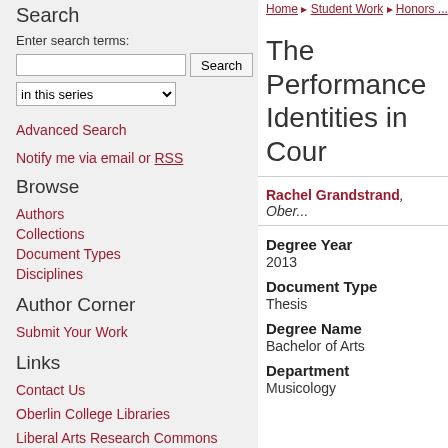Search
Enter search terms:
in this series
Advanced Search
Notify me via email or RSS
Browse
Authors
Collections
Document Types
Disciplines
Author Corner
Submit Your Work
Links
Contact Us
Oberlin College Libraries
Liberal Arts Research Commons
Home > Student Work > Honors ...
The Performance... Identities in Cou...
Rachel Grandstrand, Ober...
Degree Year
2013
Document Type
Thesis
Degree Name
Bachelor of Arts
Department
Musicology